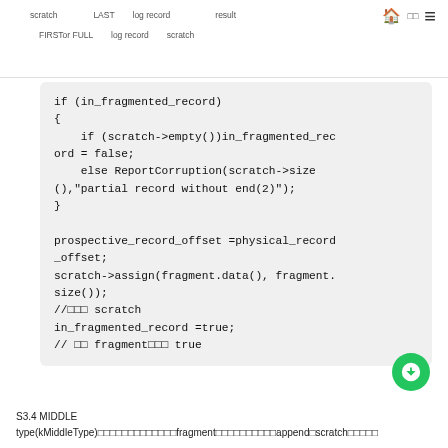scratch　　LAST　log record　　　result　　　　　🏠 □□　　　　　　　　　　　　　　　　　　　　　≡　　　　FIRSTor FULL　log record　scratch
[Figure (screenshot): Code block showing C++ fragment handling logic with if (in_fragmented_record) block and prospective_record_offset assignment]
S3.4 MIDDLE type(kMiddleType)　　　　　　　　　fragment　　　　　　　　append　scratch